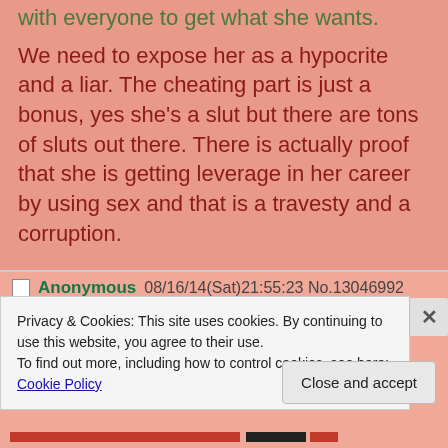with everyone to get what she wants.
We need to expose her as a hypocrite and a liar. The cheating part is just a bonus, yes she's a slut but there are tons of sluts out there. There is actually proof that she is getting leverage in her career by using sex and that is a travesty and a corruption.
Anonymous 08/16/14(Sat)21:55:23 No.13046992
Privacy & Cookies: This site uses cookies. By continuing to use this website, you agree to their use.
To find out more, including how to control cookies, see here: Cookie Policy
Close and accept